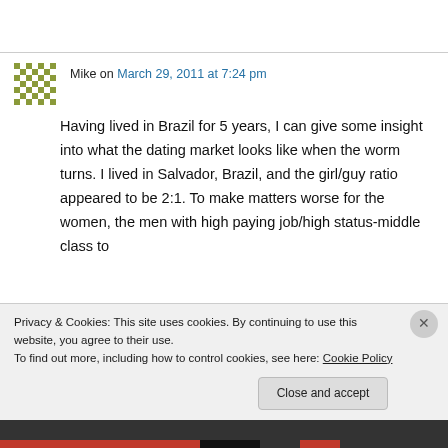Mike on March 29, 2011 at 7:24 pm
Having lived in Brazil for 5 years, I can give some insight into what the dating market looks like when the worm turns. I lived in Salvador, Brazil, and the girl/guy ratio appeared to be 2:1. To make matters worse for the women, the men with high paying job/high status-middle class to
Privacy & Cookies: This site uses cookies. By continuing to use this website, you agree to their use.
To find out more, including how to control cookies, see here: Cookie Policy
Close and accept